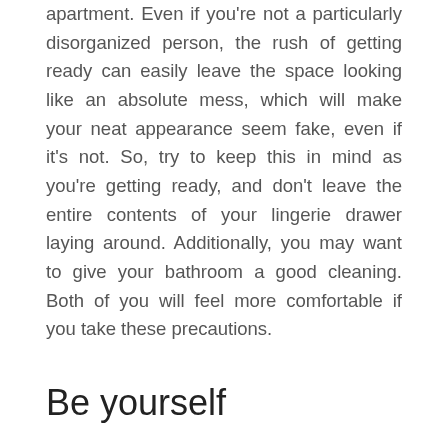embarrassing than getting home to a dirty apartment. Even if you're not a particularly disorganized person, the rush of getting ready can easily leave the space looking like an absolute mess, which will make your neat appearance seem fake, even if it's not. So, try to keep this in mind as you're getting ready, and don't leave the entire contents of your lingerie drawer laying around. Additionally, you may want to give your bathroom a good cleaning. Both of you will feel more comfortable if you take these precautions.
Be yourself
Finally, it's important that, throughout all these preparations, you don't lose sight of who you are. Don't try to change too much to impress your date with a phony